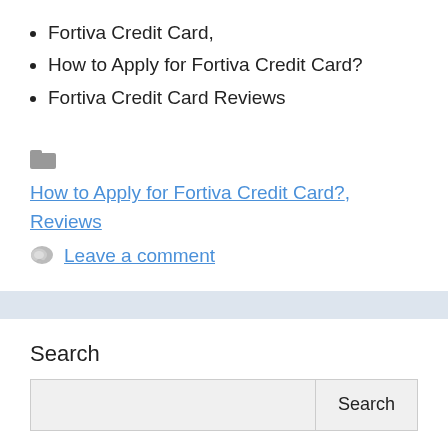Fortiva Credit Card,
How to Apply for Fortiva Credit Card?
Fortiva Credit Card Reviews
How to Apply for Fortiva Credit Card?, Reviews
Leave a comment
Search